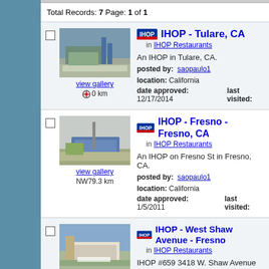Total Records: 7 Page: 1 of 1
IHOP - Tulare, CA
in IHOP Restaurants
An IHOP in Tulare, CA.
posted by: saopaulo1
location: California
date approved: 12/17/2014
last visited:
IHOP - Fresno - Fresno, CA
in IHOP Restaurants
An IHOP on Fresno St in Fresno, CA.
posted by: saopaulo1
location: California
date approved: 1/5/2011
last visited:
IHOP - West Shaw Avenue - Fresno...
in IHOP Restaurants
IHOP #659 3418 W. Shaw Avenue FRESNO, CA